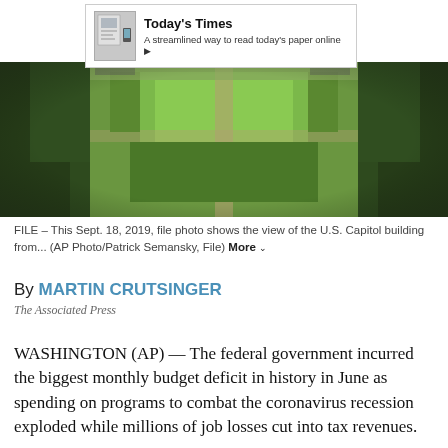[Figure (photo): Advertisement banner: Today's Times - A streamlined way to read today's paper online]
[Figure (photo): Aerial view of the U.S. Capitol building and surrounding grounds with green lawns and tree-lined pathways]
FILE – This Sept. 18, 2019, file photo shows the view of the U.S. Capitol building from... (AP Photo/Patrick Semansky, File) More
By MARTIN CRUTSINGER
The Associated Press
WASHINGTON (AP) — The federal government incurred the biggest monthly budget deficit in history in June as spending on programs to combat the coronavirus recession exploded while millions of job losses cut into tax revenues.